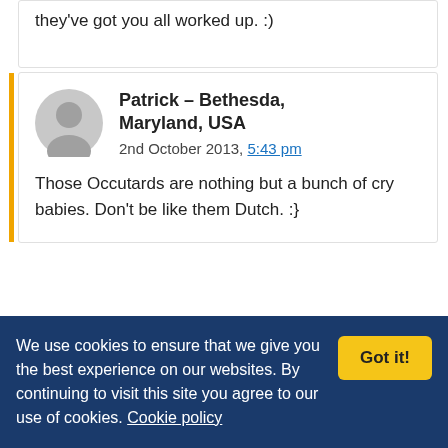they've got you all worked up. :)
Patrick – Bethesda, Maryland, USA
2nd October 2013, 5:43 pm

Those Occutards are nothing but a bunch of cry babies. Don't be like them Dutch. :}
Dutch_Master
2nd October 2013, 6:56
We use cookies to ensure that we give you the best experience on our websites. By continuing to visit this site you agree to our use of cookies. Cookie policy